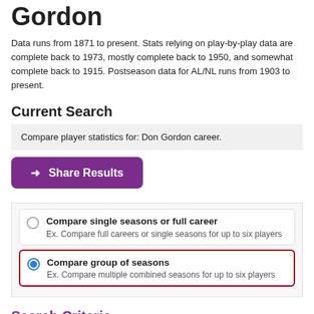Gordon
Data runs from 1871 to present. Stats relying on play-by-play data are complete back to 1973, mostly complete back to 1950, and somewhat complete back to 1915. Postseason data for AL/NL runs from 1903 to present.
Current Search
Compare player statistics for: Don Gordon career.
➜ Share Results
Compare single seasons or full career
Ex. Compare full careers or single seasons for up to six players
Compare group of seasons
Ex. Compare multiple combined seasons for up to six players
Search Criteria
Click on the red text to pre-fill the form with various values